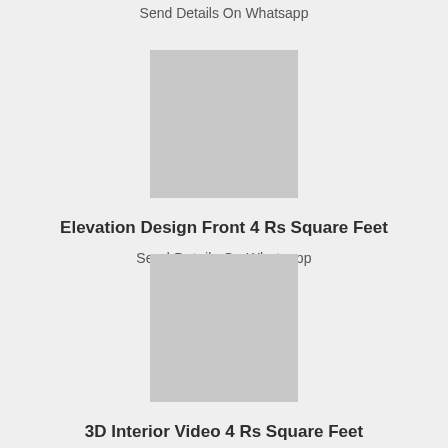Send Details On Whatsapp
[Figure (illustration): Grey placeholder image rectangle]
Elevation Design Front 4 Rs Square Feet
Send Details On Whatsapp
[Figure (illustration): Grey placeholder image rectangle]
3D Interior Video 4 Rs Square Feet
Send Details On Whatsapp